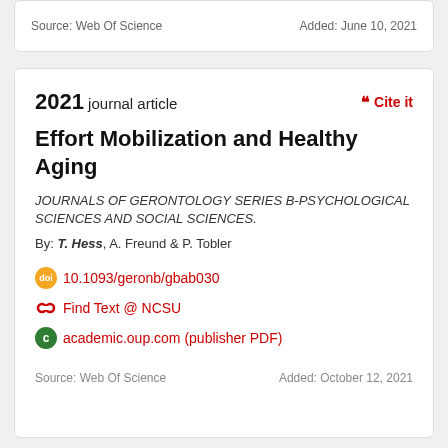Source: Web Of Science    Added: June 10, 2021
2021 journal article
Cite it
Effort Mobilization and Healthy Aging
JOURNALS OF GERONTOLOGY SERIES B-PSYCHOLOGICAL SCIENCES AND SOCIAL SCIENCES.
By: T. Hess, A. Freund & P. Tobler
10.1093/geronb/gbab030
Find Text @ NCSU
academic.oup.com (publisher PDF)
Source: Web Of Science    Added: October 12, 2021